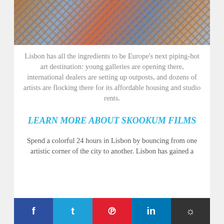[Figure (photo): Partial view of colorful artwork or street art photograph, cropped at top]
Lisbon has all the ingredients to be Europe’s next piping-hot art destination: young galleries are opening there, international dealers are setting up outposts, and dozens of artists are flocking there for its affordable housing and studio rents.
LEARN MORE ABOUT SKOOKUM FILMS
Spend a colorful 24 hours in Lisbon by bouncing from one artistic corner of the city to another. Lisbon has gained a